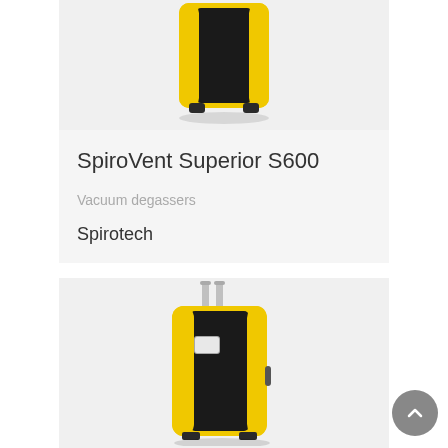[Figure (photo): Top portion of a SpiroVent Superior S600 vacuum degasser unit, yellow and black casing, partially cropped at the top]
SpiroVent Superior S600
Vacuum degassers
Spirotech
[Figure (photo): Full view of a SpiroVent Superior S600 vacuum degasser unit, yellow and black rectangular casing with two pipe connections at the top, a small display window on the front, and a side handle]